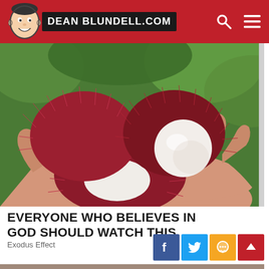DEAN BLUNDELL.COM
[Figure (photo): A hand holding open rambutan fruits showing white flesh interior, red spiky exterior, outdoor setting with greenery]
EVERYONE WHO BELIEVES IN GOD SHOULD WATCH THIS
Exodus Effect
[Figure (photo): Partial bottom image strip showing a person]